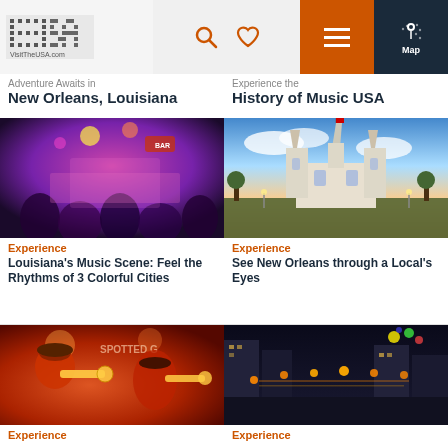[Figure (screenshot): VisitTheUSA.com website navigation bar with logo, search/heart icons, orange hamburger menu, and dark map button]
Adventure Awaits in New Orleans, Louisiana
Experience the History of Music USA
[Figure (photo): Lively bar scene with purple lighting and live music band performing to a crowd]
Experience
Louisiana's Music Scene: Feel the Rhythms of 3 Colorful Cities
[Figure (photo): St. Louis Cathedral in New Orleans at dusk with dramatic sky]
Experience
See New Orleans through a Local's Eyes
[Figure (photo): Jazz musicians playing trumpets in a warm red-lit venue]
Experience
[Figure (photo): Aerial view of a crowded festival street at night with colorful lights]
Experience